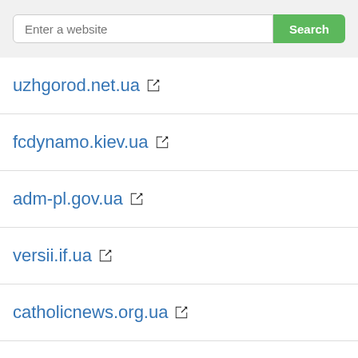[Figure (screenshot): Search bar with placeholder text 'Enter a website' and a green 'Search' button]
uzhgorod.net.ua
fcdynamo.kiev.ua
adm-pl.gov.ua
versii.if.ua
catholicnews.org.ua